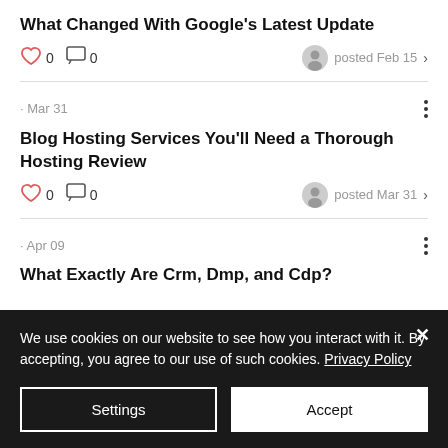What Changed With Google's Latest Update
0  0  posted Feb 15
Mar 31
Blog Hosting Services You'll Need a Thorough Hosting Review
0  0  posted Mar 31
Apr 09
What Exactly Are Crm, Dmp, and Cdp?
We use cookies on our website to see how you interact with it. By accepting, you agree to our use of such cookies. Privacy Policy
Settings
Accept